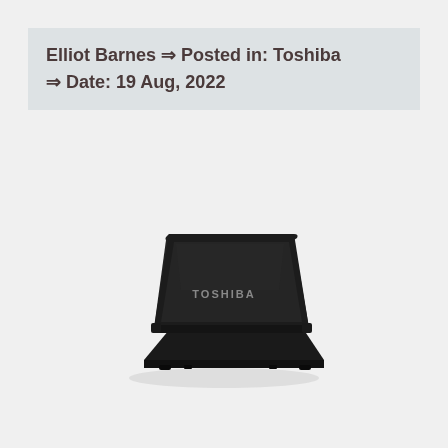Elliot Barnes ⇒ Posted in: Toshiba ⇒ Date: 19 Aug, 2022
[Figure (photo): Rear view of a black Toshiba laptop showing the lid with the Toshiba logo, shot from a slightly elevated angle against a white background.]